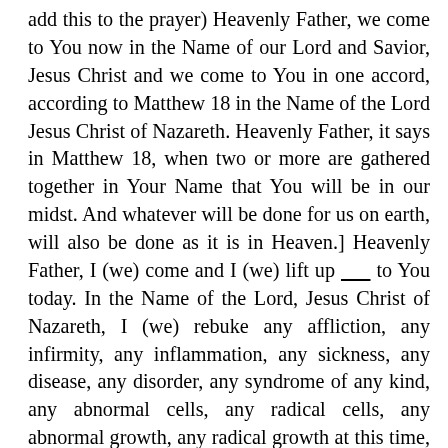add this to the prayer) Heavenly Father, we come to You now in the Name of our Lord and Savior, Jesus Christ and we come to You in one accord, according to Matthew 18 in the Name of the Lord Jesus Christ of Nazareth. Heavenly Father, it says in Matthew 18, when two or more are gathered together in Your Name that You will be in our midst. And whatever will be done for us on earth, will also be done as it is in Heaven.] Heavenly Father, I (we) come and I (we) lift up _____ to You today. In the Name of the Lord, Jesus Christ of Nazareth, I (we) rebuke any affliction, any infirmity, any inflammation, any sickness, any disease, any disorder, any syndrome of any kind, any abnormal cells, any radical cells, any abnormal growth, any radical growth at this time, I (we) rebuke it and loose them from _____ in the Name of Jesus Christ of Nazareth. I (we) curse any infection in _____'s body and command it to die at the roots and leave _____'s body in a normal way. I (we) curse any abnormal cell, radical cell, abnormal growth or radical growth in _____'s body, and command them to